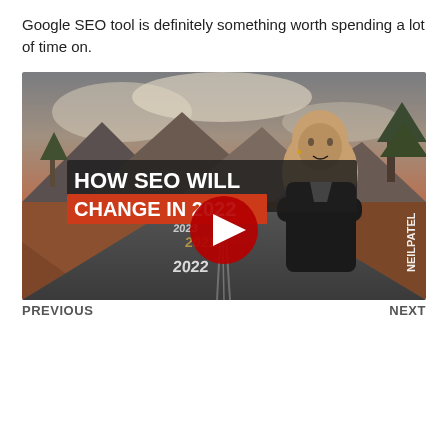Google SEO tool is definitely something worth spending a lot of time on.
[Figure (screenshot): YouTube video thumbnail for 'HOW SEO WILL CHANGE IN 2022' by Neil Patel, showing a bald man in a black leather jacket with arms crossed, standing on a road with years 2021, 2022, 2023 painted on it, mountains in background. Red YouTube play button in center.]
PREVIOUS	NEXT